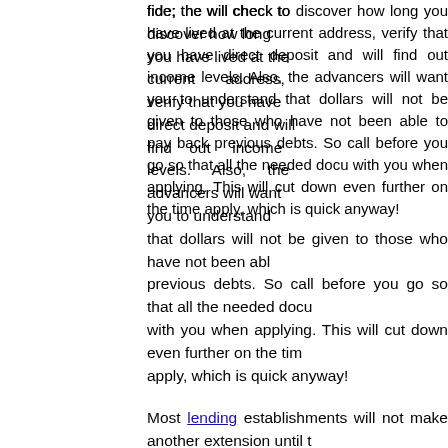fide; the will check to discover how long you have lived at the current address, verify that you have direct deposit and will find out income levels. Also, the advancers will want you to understand that dollars will not be given to those who have not been able to pay back previous debts. So call before you go so that all the needed documents are with you when applying. This will cut down even further on the time it takes to apply, which is quick anyway!
Most lending establishments will not make another extension until the full amount has been paid back. Also, if an extended repayment period is needed, most lenders will work with you to allow this, but there are exact repayment dates that will be required. The remaining sums that need to be paid back will automatically come out of the extension period or pay date one requests, and if there is an outstanding amount. Keep in mind that interest will be added to the original borrowed amount, so this will need to be kept in mind when calculating how much money will need to be in the bank account when the time comes for the EFT to remove it as payment. Make every effort to ensure the entire amount is paid back in the time period requested, so that extra interest does not come in and increase the amount due unnecessarily.
Remember that taking on more debt should be used only in the event of an emergency. For example, if you are in an accident and your paycheck does not cover all the medical bills. There may be a few hundred dollars that...